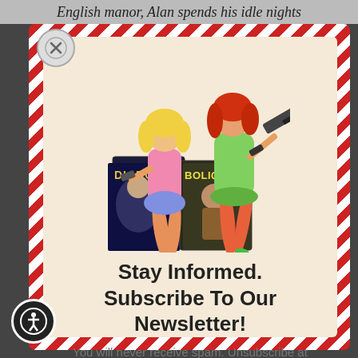English manor, Alan spends his idle nights
[Figure (illustration): Two women in retro spy/action style poses holding weapons, standing above two comic book covers labeled 'Diabol' and 'Bolique']
Stay Informed. Subscribe To Our Newsletter!
You will never receive spam. Unsubscribe at any time.